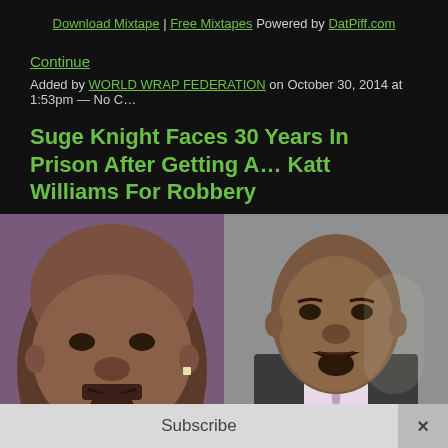Download Mixtape | Free Mixtapes Powered by DatPiff.com
Continue
Added by WORLD WRAP FEDERATION on October 30, 2014 at 1:53pm — No C…
Suge Knight Faces 30 Years In Prison After Getting A… Katt Williams For Robbery
[Figure (photo): Two side-by-side photos: left shows Suge Knight (bald, heavy-set man with goatee and diamond earring), right shows Katt Williams (man in suit with goatee looking concerned)]
Subscribe